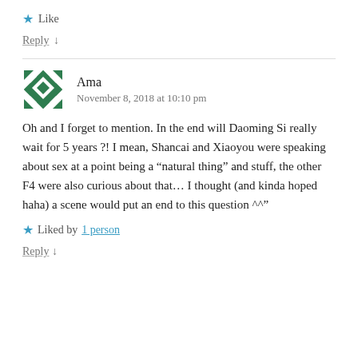★ Like
Reply ↓
Ama
November 8, 2018 at 10:10 pm
Oh and I forget to mention. In the end will Daoming Si really wait for 5 years ?! I mean, Shancai and Xiaoyou were speaking about sex at a point being a "natural thing" and stuff, the other F4 were also curious about that… I thought (and kinda hoped haha) a scene would put an end to this question ^^"
★ Liked by 1 person
Reply ↓